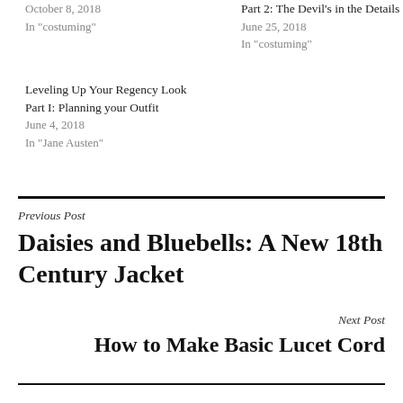October 8, 2018
In "costuming"
Part 2: The Devil's in the Details
June 25, 2018
In "costuming"
Leveling Up Your Regency Look
Part I: Planning your Outfit
June 4, 2018
In "Jane Austen"
Previous Post
Daisies and Bluebells: A New 18th Century Jacket
Next Post
How to Make Basic Lucet Cord